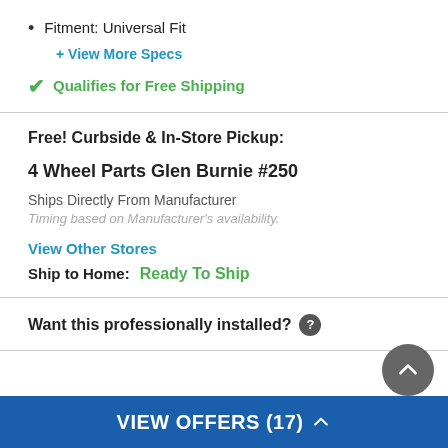Fitment: Universal Fit
+ View More Specs
✓ Qualifies for Free Shipping
Free! Curbside & In-Store Pickup:
4 Wheel Parts Glen Burnie #250
Ships Directly From Manufacturer
Timing based on Manufacturer's availability.
View Other Stores
Ship to Home:  Ready To Ship
Want this professionally installed?
VIEW OFFERS (17)